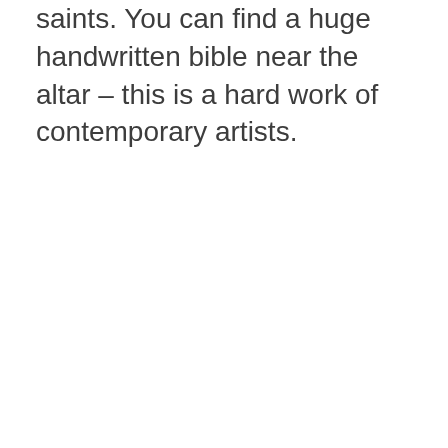saints. You can find a huge handwritten bible near the altar – this is a hard work of contemporary artists.